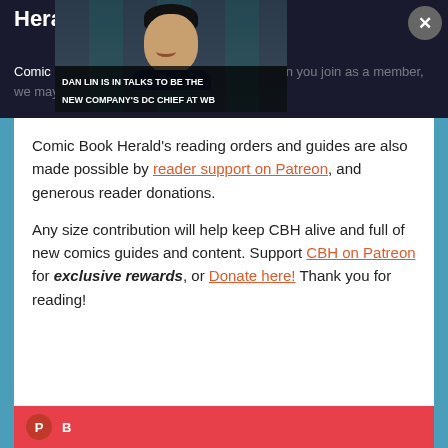Herald
[Figure (photo): Photo of man in suit at BAFTA event backdrop with caption 'DAN LIN IS IN TALKS TO BE THE NEW COMPANY'S DC CHIEF AT WB'. A close button (×) is visible in the upper right corner.]
Comic Book Herald's reading orders and guides are also made possible by reader support on Patreon, and generous reader donations.
Any size contribution will help keep CBH alive and full of new comics guides and content. Support CBH on Patreon for exclusive rewards, or Donate here! Thank you for reading!